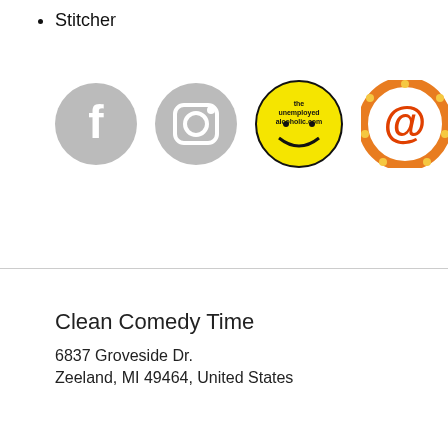Stitcher
[Figure (logo): Four social/brand icons in a row: gray Facebook circle, gray Instagram circle, The Unemployed Alcoholic yellow circle logo, and an orange marquee-style at-symbol icon.]
Clean Comedy Time
6837 Groveside Dr.
Zeeland, MI 49464, United States